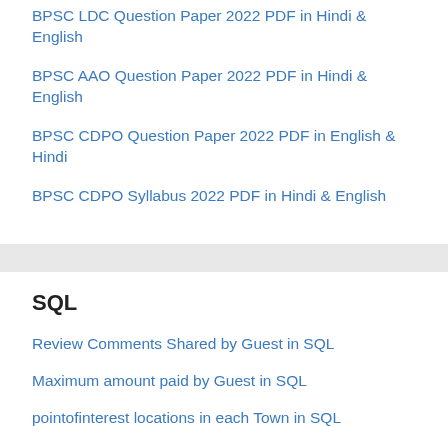BPSC LDC Question Paper 2022 PDF in Hindi & English
BPSC AAO Question Paper 2022 PDF in Hindi & English
BPSC CDPO Question Paper 2022 PDF in English & Hindi
BPSC CDPO Syllabus 2022 PDF in Hindi & English
SQL
Review Comments Shared by Guest in SQL
Maximum amount paid by Guest in SQL
pointofinterest locations in each Town in SQL